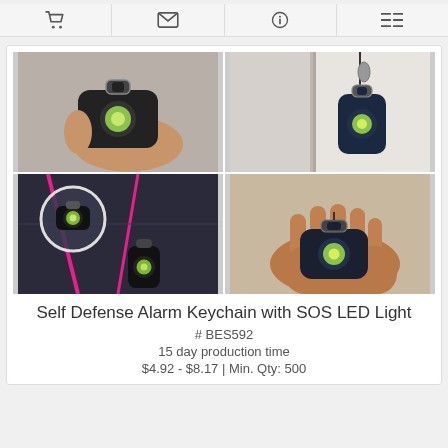[Figure (photo): Four product photos of a Self Defense Alarm Keychain with SOS LED Light: top-left shows a hand holding the black device with a green LED; top-right shows device hanging on a door handle; bottom-left shows device attached to a backpack strap with a magnified inset; bottom-right shows device resting in an open palm.]
Self Defense Alarm Keychain with SOS LED Light
# BES592
15 day production time
$4.92 - $8.17 | Min. Qty: 500